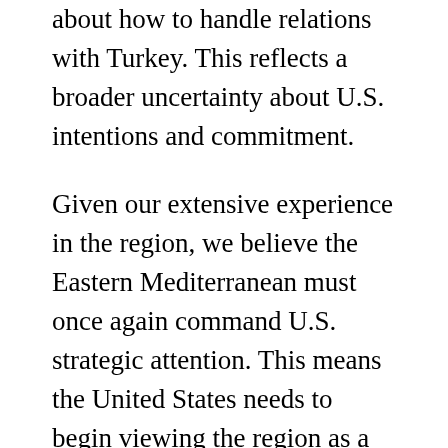about how to handle relations with Turkey. This reflects a broader uncertainty about U.S. intentions and commitment.
Given our extensive experience in the region, we believe the Eastern Mediterranean must once again command U.S. strategic attention. This means the United States needs to begin viewing the region as a coherent strategic entity—something which is impossible unless our diplomatic and national security bureaucracies address the organizational stovepipes cutting through the heart of the region.
More fundamentally, American policymakers must make abundantly clear to allies and